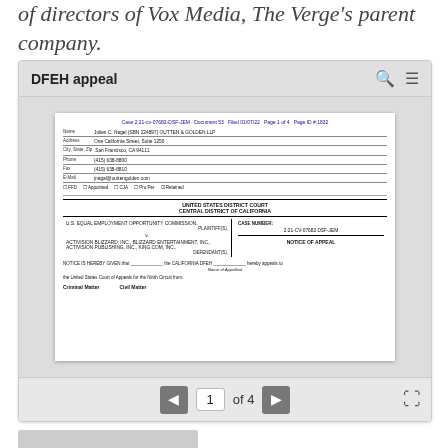of directors of Vox Media, The Verge's parent company.
[Figure (screenshot): Browser viewer showing DFEH appeal document - a legal filing in Case 2:21-cv-07682-DSF-JEM, Document 53, Filed 01/07/22, Page 1 of 4. Shows attorney info block for Julien C. Nagel (SBN 224897) OUTTEN & GOLDEN LLP, address One California Street, Suite 1250, San Francisco CA 94111. Court: United States District Court, Central District of California. Parties: U.S. Equal Employment Opportunity Commission (Plaintiff) vs. Activision Blizzard, Inc., Blizzard Entertainment, Inc., Activision Publishing, Inc., King.com, Inc. (Defendants). Case Number 2:21-CV-07682 DSF-JEM. Notice of Appeal. Notice is hereby given that the California DFEH hereby appeals to the United States Court of Appeals for the Ninth Circuit from:. Criminal Matter / Civil Matter.]